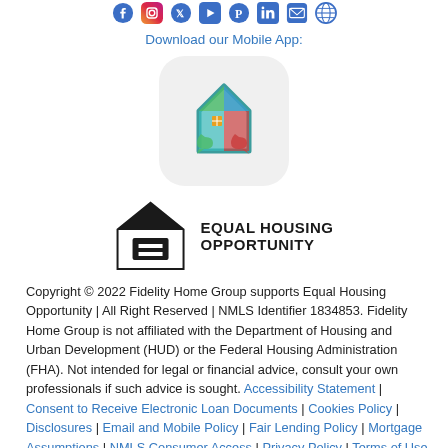[Figure (logo): Row of social media icons (Facebook, Instagram, Twitter, YouTube, Pinterest, LinkedIn, Email, Phone) in blue]
Download our Mobile App:
[Figure (logo): Mobile app icon for Fidelity Home Group app showing a colorful house logo on a light gray rounded square background]
[Figure (logo): Equal Housing Opportunity logo — black house icon with equals sign and bold text EQUAL HOUSING OPPORTUNITY]
Copyright © 2022 Fidelity Home Group supports Equal Housing Opportunity | All Right Reserved  | NMLS Identifier 1834853. Fidelity Home Group is not affiliated with the Department of Housing and Urban Development (HUD) or the Federal Housing Administration (FHA). Not intended for legal or financial advice, consult your own professionals if such advice is sought. Accessibility Statement  | Consent to Receive Electronic Loan Documents  |  Cookies Policy   |  Disclosures  | Email and Mobile Policy |  Fair Lending Policy  |  Mortgage Assumptions  |  NMLS Consumer Access  |  Privacy Policy  |  Terms of Use